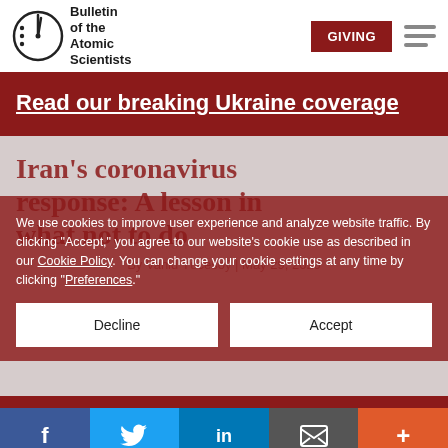[Figure (logo): Bulletin of the Atomic Scientists logo with doomsday clock graphic and text]
GIVING
Read our breaking Ukraine coverage
Iran's coronavirus response: A lesson in what not to do
We use cookies to improve user experience and analyze website traffic. By clicking "Accept," you agree to our website's cookie use as described in our Cookie Policy. You can change your cookie settings at any time by clicking "Preferences."
Decline
Accept
By Vahid Yücesoý | May 29, 2020
f
in
+